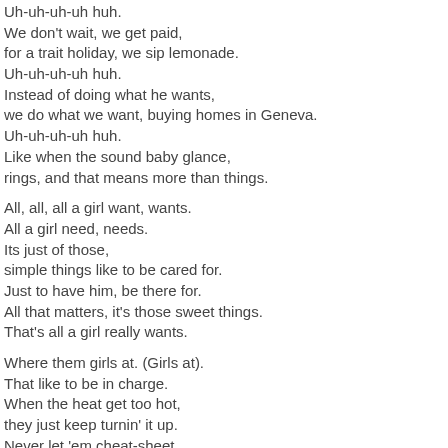Uh-uh-uh-uh huh.
We don't wait, we get paid,
for a trait holiday, we sip lemonade.
Uh-uh-uh-uh huh.
Instead of doing what he wants,
we do what we want, buying homes in Geneva.
Uh-uh-uh-uh huh.
Like when the sound baby glance,
rings, and that means more than things.
All, all, all a girl want, wants.
All a girl need, needs.
Its just of those,
simple things like to be cared for.
Just to have him, be there for.
All that matters, it's those sweet things.
That's all a girl really wants.
Where them girls at. (Girls at).
That like to be in charge.
When the heat get too hot,
they just keep turnin' it up.
Never let 'em cheat-sheet,
they just sweat, gotta go hard.
Where those winning women
thats really willin to take it off!
Where them girls at. (Girls at).
That like to be in charge.